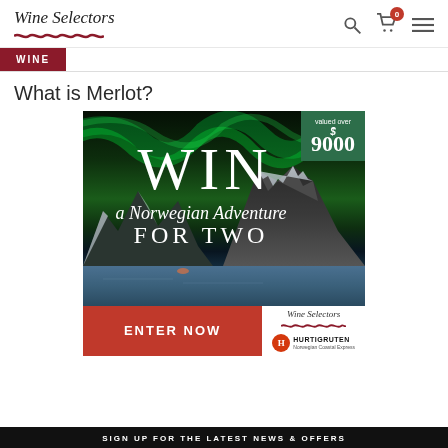Wine Selectors
WINE
What is Merlot?
[Figure (illustration): Promotional advertisement banner for Wine Selectors showing a Norwegian landscape with northern lights (aurora borealis), mountains and fjord, with text 'WIN a Norwegian Adventure FOR TWO valued over $9000', an ENTER NOW button, Wine Selectors logo, and Hurtigruten Norwegian Coastal Express logo.]
SIGN UP FOR THE LATEST NEWS & OFFERS